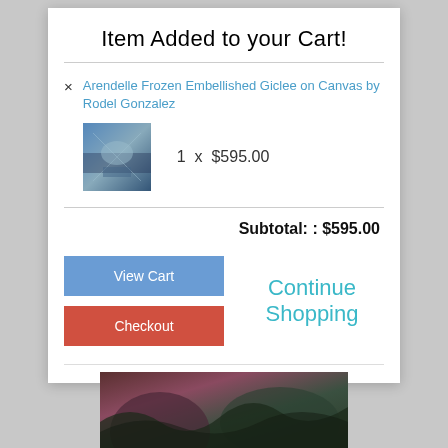Item Added to your Cart!
Arendelle Frozen Embellished Giclee on Canvas by Rodel Gonzalez
1  x  $595.00
Subtotal: : $595.00
View Cart
Continue Shopping
Checkout